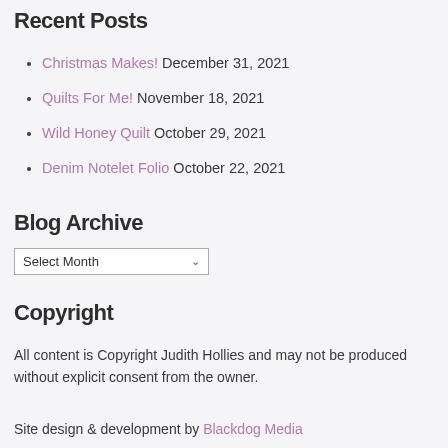Recent Posts
Christmas Makes! December 31, 2021
Quilts For Me! November 18, 2021
Wild Honey Quilt October 29, 2021
Denim Notelet Folio October 22, 2021
Blog Archive
Select Month
Copyright
All content is Copyright Judith Hollies and may not be produced without explicit consent from the owner.
Site design & development by Blackdog Media